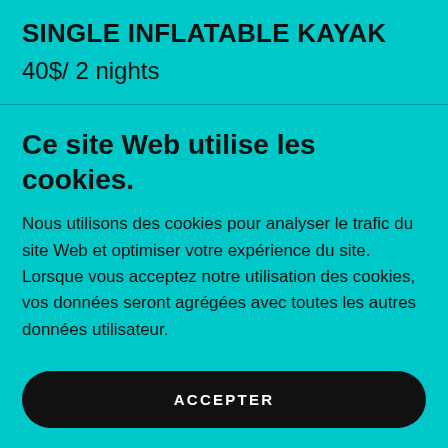SINGLE INFLATABLE KAYAK
40$/ 2 nights
Ce site Web utilise les cookies.
Nous utilisons des cookies pour analyser le trafic du site Web et optimiser votre expérience du site. Lorsque vous acceptez notre utilisation des cookies, vos données seront agrégées avec toutes les autres données utilisateur.
ACCEPTER